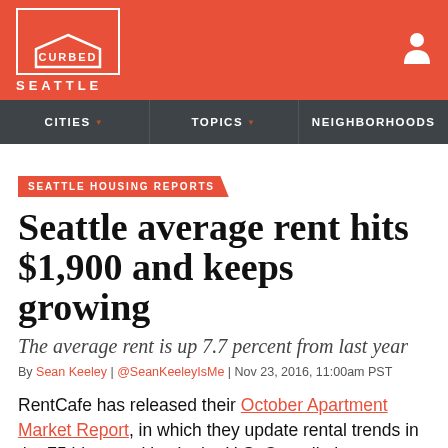CURBED SEATTLE
CITIES | TOPICS | NEIGHBORHOODS
SEATTLE HOUSING REPORTS
Seattle average rent hits $1,900 and keeps growing
The average rent is up 7.7 percent from last year
By Sean Keeley | @SeanKeeleyIsMe | Nov 23, 2016, 11:00am PST
RentCafe has released their October Apartment Market Report, in which they update rental trends in the 75 biggest cities in the U.S. Overall, they saw an average